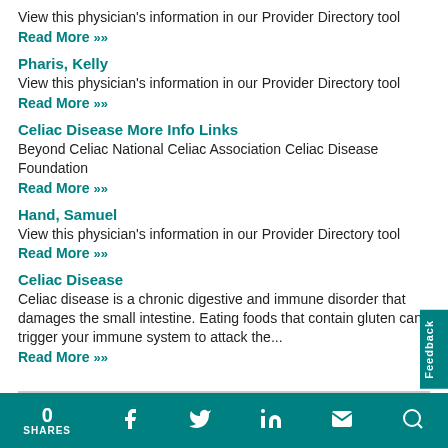View this physician's information in our Provider Directory tool
Read More »
Pharis, Kelly
View this physician's information in our Provider Directory tool
Read More »
Celiac Disease More Info Links
Beyond Celiac National Celiac Association Celiac Disease Foundation
Read More »
Hand, Samuel
View this physician's information in our Provider Directory tool
Read More »
Celiac Disease
Celiac disease is a chronic digestive and immune disorder that damages the small intestine. Eating foods that contain gluten can trigger your immune system to attack the...
Read More »
0 SHARES  [social icons: Facebook, Twitter, LinkedIn, Email, Search]